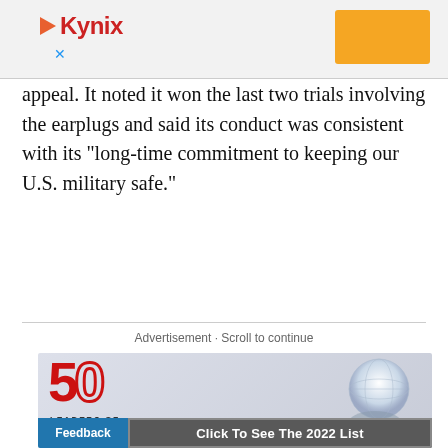[Figure (other): Kynix advertisement banner with logo and orange rectangle button at top of page]
appeal. It noted it won the last two trials involving the earplugs and said its conduct was consistent with its "long-time commitment to keeping our U.S. military safe."
Advertisement · Scroll to continue
[Figure (other): 50 Leaders of Change advertisement banner with globe graphic and Click To See The 2022 List button]